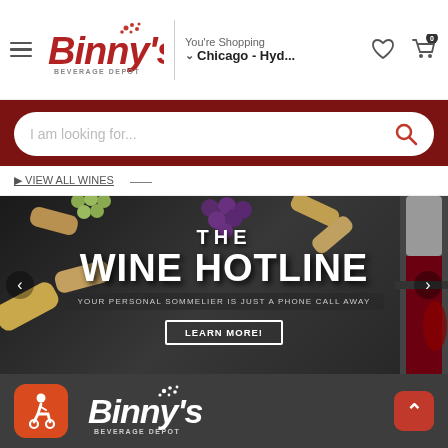[Figure (screenshot): Binny's Beverage Depot website header with logo, 'You're Shopping / Chicago - Hyd...' location selector, heart icon, and cart icon with 0 items]
[Figure (screenshot): Dark red search bar area with white rounded search box reading 'I am looking for...' and red search icon]
[Figure (screenshot): Promotional banner for 'The Wine Hotline' with text 'YOUR PERSONAL SOMMELIER IS JUST A PHONE CALL AWAY' and 'LEARN MORE!' button, dark background with wine corks, grapes, and bottles]
[Figure (screenshot): Dark gray footer area with accessibility icon (orange rounded square with wheelchair symbol), Binny's Beverage Depot white logo, and red back-to-top arrow button]